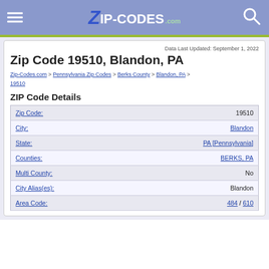Zip-Codes.com header navigation bar
Data Last Updated: September 1, 2022
Zip Code 19510, Blandon, PA
Zip-Codes.com > Pennsylvania Zip Codes > Berks County > Blandon, PA > 19510
ZIP Code Details
| Field | Value |
| --- | --- |
| Zip Code: | 19510 |
| City: | Blandon |
| State: | PA [Pennsylvania] |
| Counties: | BERKS, PA |
| Multi County: | No |
| City Alias(es): | Blandon |
| Area Code: | 484 / 610 |